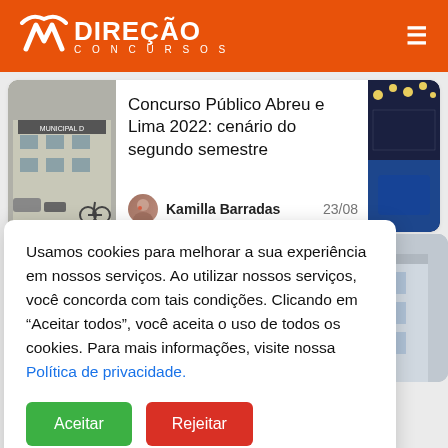DIREÇÃO CONCURSOS
[Figure (screenshot): Article card with photo of municipal building on the left, article title 'Concurso Público Abreu e Lima 2022: cenário do segundo semestre', author Kamilla Barradas, date 23/08, and partial photo on right]
Concurso Público Abreu e Lima 2022: cenário do segundo semestre
Kamilla Barradas   23/08
Usamos cookies para melhorar a sua experiência em nossos serviços. Ao utilizar nossos serviços, você concorda com tais condições. Clicando em "Aceitar todos", você aceita o uso de todos os cookies. Para mais informações, visite nossa Política de privacidade.
Aceitar
Rejeitar